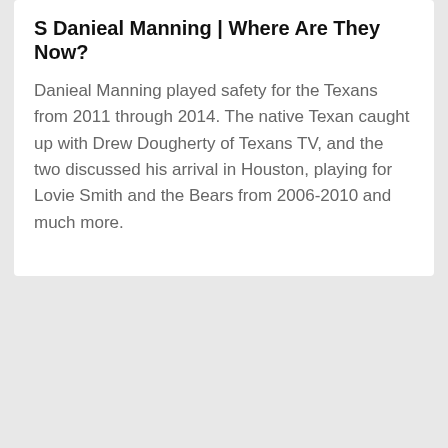S Danieal Manning | Where Are They Now?
Danieal Manning played safety for the Texans from 2011 through 2014. The native Texan caught up with Drew Dougherty of Texans TV, and the two discussed his arrival in Houston, playing for Lovie Smith and the Bears from 2006-2010 and much more.